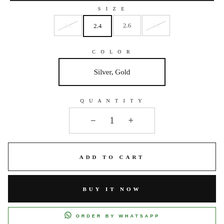SIZE
2.4  2.6
COLOR
Silver, Gold
QUANTITY
− 1 +
ADD TO CART
BUY IT NOW
ORDER BY WHATSAPP